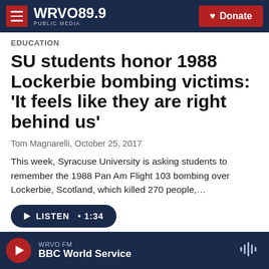WRVO PUBLIC MEDIA 89.9  |  Donate
Education
SU students honor 1988 Lockerbie bombing victims: ‘It feels like they are right behind us’
Tom Magnarelli,  October 25, 2017
This week, Syracuse University is asking students to remember the 1988 Pan Am Flight 103 bombing over Lockerbie, Scotland, which killed 270 people,...
►  LISTEN • 1:34
WRVO FM  BBC World Service